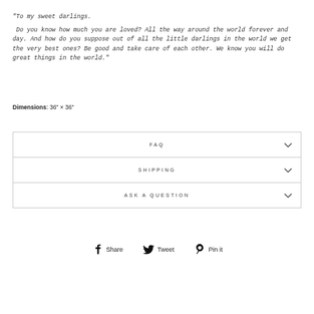"To my sweet darlings.

 Do you know how much you are loved? All the way around the world forever and day. And how do you suppose out of all the little darlings in the world we get the very best ones? Be good and take care of each other. We know you will do great things in the world."
Dimensions: 36" × 36"
| FAQ |
| SHIPPING |
| ASK A QUESTION |
Share  Tweet  Pin it